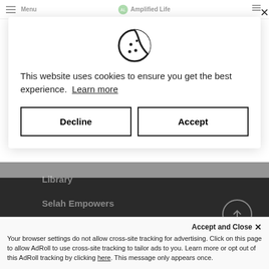Menu  Amplified Life
[Figure (screenshot): Cookie consent modal with cookie icon, text about website cookies, Decline and Accept buttons, and a dark website footer showing Library, Selah Empowers, Pamphlets navigation links and a scroll-to-top button]
This website uses cookies to ensure you get the best experience.  Learn more
Decline
Accept
Library
Selah Empowers
Pamphlets
Accept and Close ×
Your browser settings do not allow cross-site tracking for advertising. Click on this page to allow AdRoll to use cross-site tracking to tailor ads to you. Learn more or opt out of this AdRoll tracking by clicking here. This message only appears once.